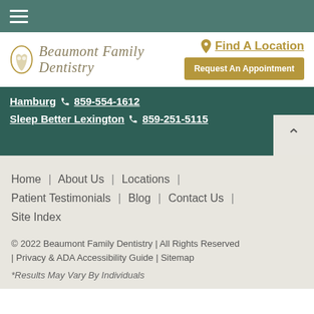☰ (hamburger menu)
[Figure (logo): Beaumont Family Dentistry logo with tooth/face icon and script text]
Find A Location
Request An Appointment
Hamburg  859-554-1612
Sleep Better Lexington  859-251-5115
Home | About Us | Locations | Patient Testimonials | Blog | Contact Us | Site Index
© 2022 Beaumont Family Dentistry | All Rights Reserved | Privacy & ADA Accessibility Guide | Sitemap
*Results May Vary By Individuals